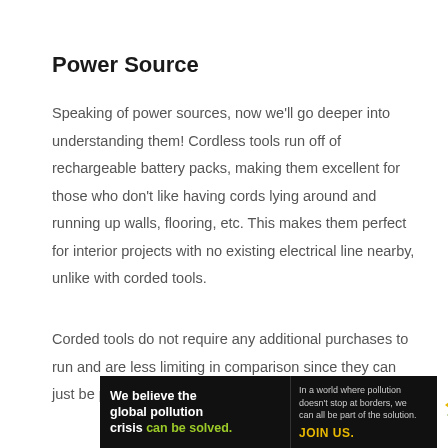Power Source
Speaking of power sources, now we'll go deeper into understanding them! Cordless tools run off of rechargeable battery packs, making them excellent for those who don't like having cords lying around and running up walls, flooring, etc. This makes them perfect for interior projects with no existing electrical line nearby, unlike with corded tools.
Corded tools do not require any additional purchases to run and are less limiting in comparison since they can just be plugged into whatever is closest, so you
[Figure (infographic): Advertisement banner for Pure Earth charity. Black background on left with white bold text: 'We believe the global pollution crisis can be solved.' with 'can be solved.' in green. Middle section with smaller text: 'In a world where pollution doesn't stop at borders, we can all be part of the solution.' and yellow 'JOIN US.' text. Right side white background with Pure Earth logo (diamond/chevron shapes in gold and green) and 'PURE EARTH' text in black.]